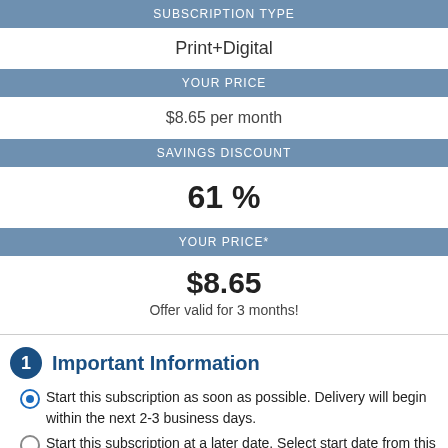SUBSCRIPTION TYPE
Print+Digital
YOUR PRICE
$8.65 per month
SAVINGS DISCOUNT
61 %
YOUR PRICE*
$8.65
Offer valid for 3 months!
1 Important Information
Start this subscription as soon as possible. Delivery will begin within the next 2-3 business days.
Start this subscription at a later date. Select start date from this calendar.